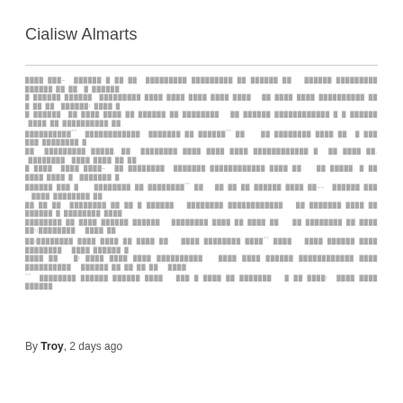Cialisw Almarts
Lorem ipsum style redacted/obfuscated body text block spanning multiple lines
By Troy, 2 days ago